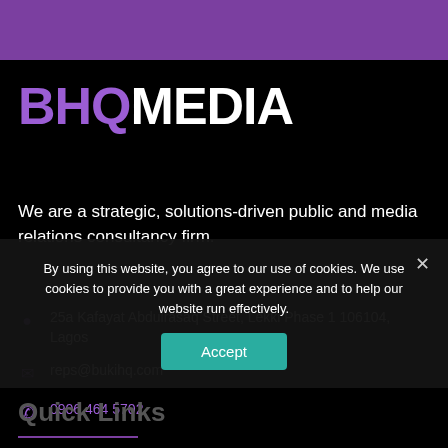[Figure (illustration): Purple decorative bar at top of page]
BHQMEDIA
We are a strategic, solutions-driven public and media relations consultancy firm.
25a Kafayat Abdulrasaq Street, Lekki Phase 1 106104, Lagos
reps@bukihq.com
0906 464 5702
Quick Links
By using this website, you agree to our use of cookies. We use cookies to provide you with a great experience and to help our website run effectively.